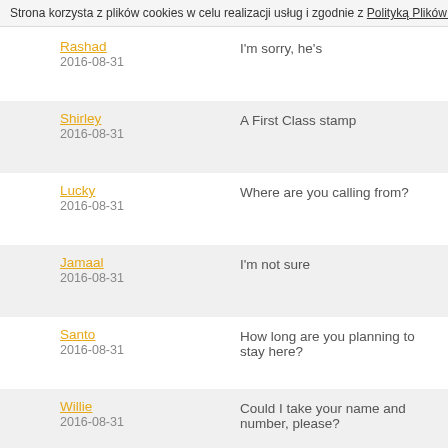Strona korzysta z plików cookies w celu realizacji usług i zgodnie z Polityką Plików C...
Rashad
2016-08-31
I'm sorry, he's
Shirley
2016-08-31
A First Class stamp
Lucky
2016-08-31
Where are you calling from?
Jamaal
2016-08-31
I'm not sure
Santo
2016-08-31
How long are you planning to stay here?
Willie
2016-08-31
Could I take your name and number, please?
Jake
2016-08-31
Excellent work, Nice Design
Lance
I'd like to change some money